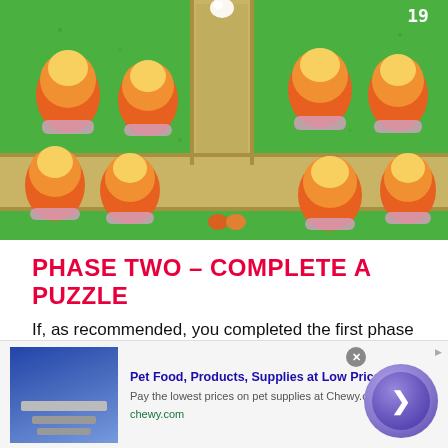[Figure (screenshot): Top-down pixel art game screenshot showing a green grassy area with egg-shaped orange and red mushroom-like creatures arranged on the field, with sandy/tan path borders.]
PHASE TWO – COMPLETE A PUZZLE
If, as recommended, you completed the first phase in Adventure-only mode, you won't yet have completed any puzzles. Which is required for one trophy, which should be the only one you have left.
Puzzle Trophy
[Figure (screenshot): Advertisement banner for Chewy.com: 'Pet Food, Products, Supplies at Low Prices - Pay the lowest prices on pet supplies at Chewy.com' with a navigation arrow button overlay.]